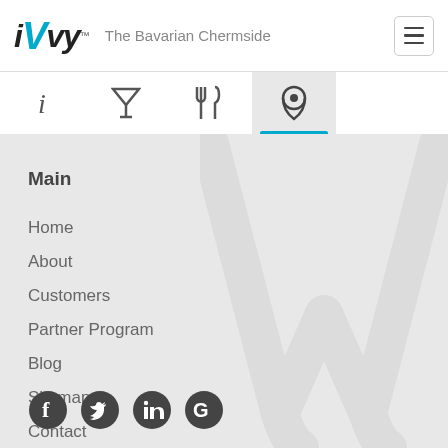iVvy™ — The Bavarian Chermside
[Figure (screenshot): Navigation tab bar with info (i), filter (martini glass), dining (fork/knife), and location pin icons; location pin tab is active with blue underline]
Main
Home
About
Customers
Partner Program
Blog
Sitemap
Contact
[Figure (logo): Social media icons row: Facebook, Twitter, LinkedIn, Google]